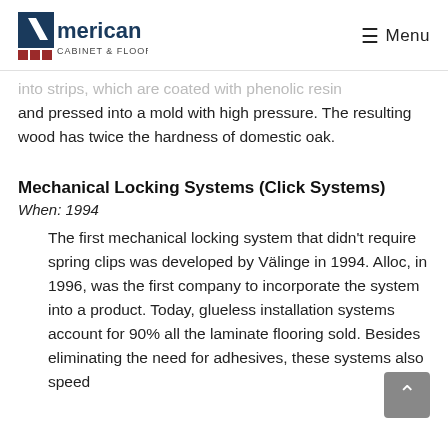American Cabinet & Flooring, Menu
into strips, which are coated with phenolic resin and pressed into a mold with high pressure. The resulting wood has twice the hardness of domestic oak.
Mechanical Locking Systems (Click Systems)
When: 1994
The first mechanical locking system that didn't require spring clips was developed by Välinge in 1994. Alloc, in 1996, was the first company to incorporate the system into a product. Today, glueless installation systems account for 90% all the laminate flooring sold. Besides eliminating the need for adhesives, these systems also speed